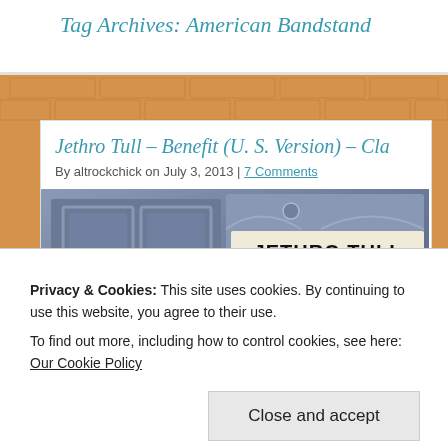Tag Archives: American Bandstand
Jethro Tull – Benefit (U. S. Version) – Cla…
By altrockchick on July 3, 2013 | 7 Comments
[Figure (photo): Album cover for Jethro Tull Benefit showing a door/marquee with JETHRO TULL text]
Privacy & Cookies: This site uses cookies. By continuing to use this website, you agree to their use.
To find out more, including how to control cookies, see here: Our Cookie Policy
Close and accept